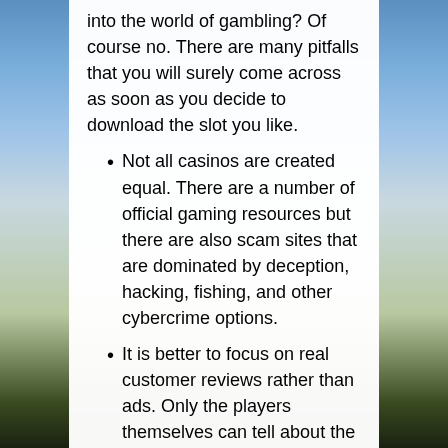into the world of gambling? Of course no. There are many pitfalls that you will surely come across as soon as you decide to download the slot you like.
Not all casinos are created equal. There are a number of official gaming resources but there are also scam sites that are dominated by deception, hacking, fishing, and other cybercrime options.
It is better to focus on real customer reviews rather than ads. Only the players themselves can tell about the pros and cons of the casino.
You should not rush into the maelstrom with your head if you have not been an offline casino shark before. And if you were a pro in gambling, you don't need to dive into the game for big money right away. There are tons of free slots to